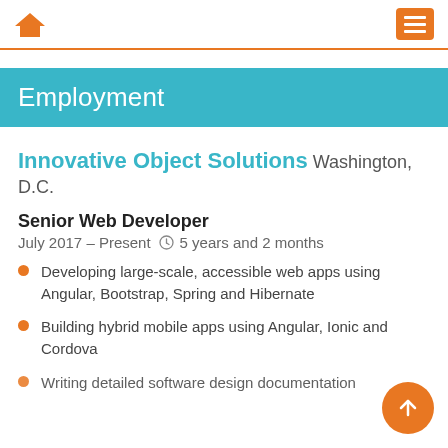Home | Menu
Employment
Innovative Object Solutions Washington, D.C.
Senior Web Developer
July 2017 – Present   5 years and 2 months
Developing large-scale, accessible web apps using Angular, Bootstrap, Spring and Hibernate
Building hybrid mobile apps using Angular, Ionic and Cordova
Writing detailed software design documentation